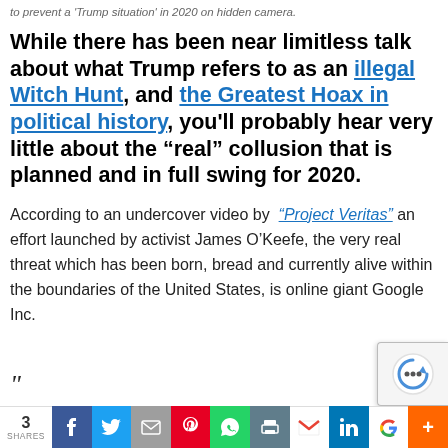to prevent a 'Trump situation' in 2020 on hidden camera.
While there has been near limitless talk about what Trump refers to as an illegal Witch Hunt, and the Greatest Hoax in political history, you'll probably hear very little about the "real" collusion that is planned and in full swing for 2020.
According to an undercover video by “Project Veritas” an effort launched by activist James O’Keefe, the very real threat which has been born, bread and currently alive within the boundaries of the United States, is online giant Google Inc.
3 SHARES | Facebook | Twitter | Email | Pinterest | WhatsApp | Print | Gmail | LinkedIn | Google | +